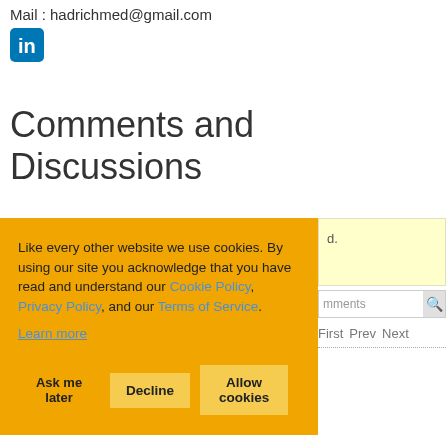Mail : hadrichmed@gmail.com
[Figure (logo): LinkedIn icon - blue square with white 'in' text]
Comments and Discussions
Like every other website we use cookies. By using our site you acknowledge that you have read and understand our Cookie Policy, Privacy Policy, and our Terms of Service. Learn more
Ask me later  Decline  Allow cookies